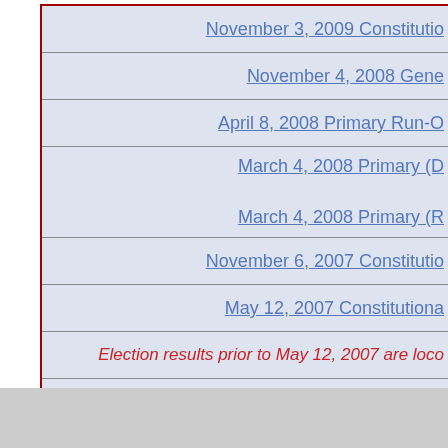| November 3, 2009 Constitutio... |
| November 4, 2008 Gene... |
| April 8, 2008 Primary Run-O... |
| March 4, 2008 Primary (D... |
| March 4, 2008 Primary (R... |
| November 6, 2007 Constitutio... |
| May 12, 2007 Constitutiona... |
| Election results prior to May 12, 2007 are loco... |
|  |
|  |